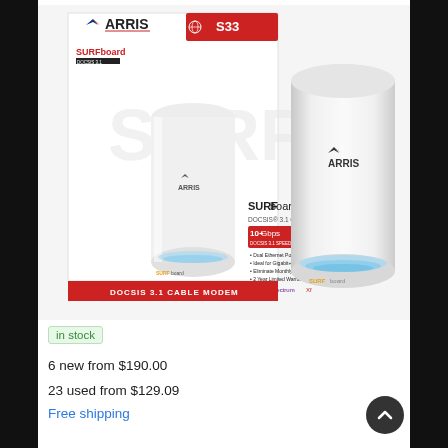[Figure (photo): ARRIS SURFboard DOCSIS 3.1 Cable Modem product box and device photo. Box shows ARRIS logo, SURFboard branding, model S33, 10+ Gbps, 32x8+ channels, bullet features, COX/Spectrum/Xfinity compatibility logos, and red banner reading DOCSIS 3.1 CABLE MODEM. The white cylindrical modem device is shown to the right of the box with ARRIS logo and SURFboard text glowing.]
in stock
6 new from $190.00
23 used from $129.09
Free shipping